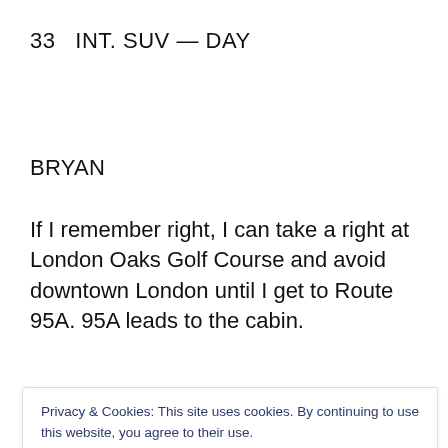33   INT. SUV — DAY
BRYAN
If I remember right, I can take a right at London Oaks Golf Course and avoid downtown London until I get to Route 95A. 95A leads to the cabin.
Privacy & Cookies: This site uses cookies. By continuing to use this website, you agree to their use.
To find out more, including how to control cookies, see here: Cookie Policy
Cut To: